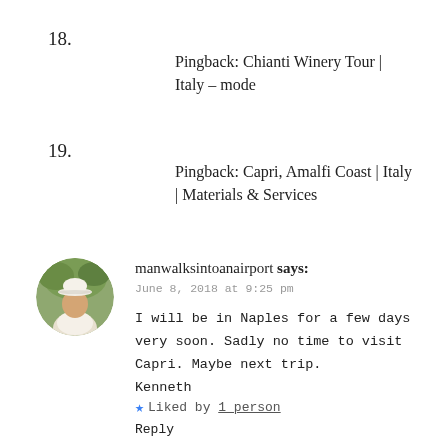18.
Pingback: Chianti Winery Tour | Italy – mode
19.
Pingback: Capri, Amalfi Coast | Italy | Materials & Services
manwalksintoanairport says:
June 8, 2018 at 9:25 pm

I will be in Naples for a few days very soon. Sadly no time to visit Capri. Maybe next trip.
Kenneth
★ Liked by 1 person
Reply